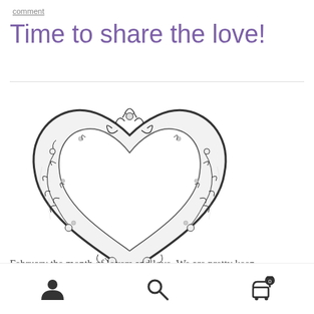comment
Time to share the love!
[Figure (illustration): Decorative heart illustration with floral and vine border designs in black and white ink style]
February the month of lovers and love. We are pretty keen
navigation icons: user, search, cart (0)